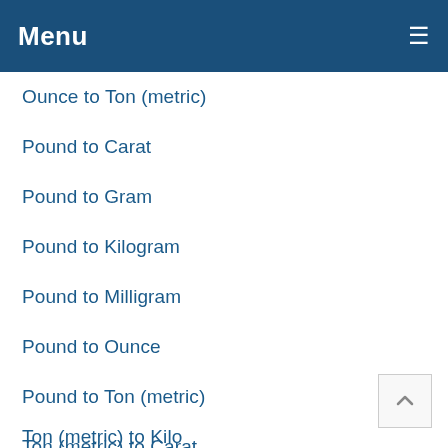Menu
Ounce to Ton (metric)
Pound to Carat
Pound to Gram
Pound to Kilogram
Pound to Milligram
Pound to Ounce
Pound to Ton (metric)
Ton (metric) to Carat
Ton (metric) to Gram
Ton (metric) to Kilo…